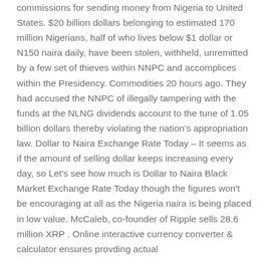commissions for sending money from Nigeria to United States. $20 billion dollars belonging to estimated 170 million Nigerians, half of who lives below $1 dollar or N150 naira daily, have been stolen, withheld, unremitted by a few set of thieves within NNPC and accomplices within the Presidency. Commodities 20 hours ago. They had accused the NNPC of illegally tampering with the funds at the NLNG dividends account to the tune of 1.05 billion dollars thereby violating the nation's appropriation law. Dollar to Naira Exchange Rate Today – It seems as if the amount of selling dollar keeps increasing every day, so Let's see how much is Dollar to Naira Black Market Exchange Rate Today though the figures won't be encouraging at all as the Nigeria naira is being placed in low value. McCaleb, co-founder of Ripple sells 28.6 million XRP . Online interactive currency converter & calculator ensures provding actual